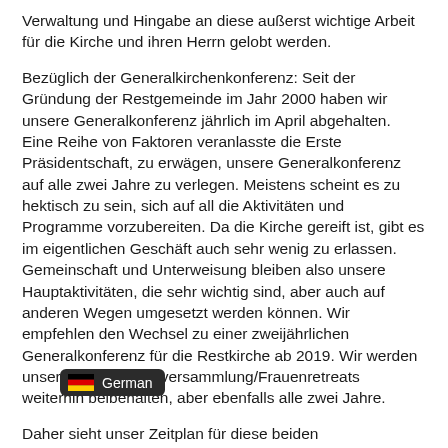Verwaltung und Hingabe an diese außerst wichtige Arbeit für die Kirche und ihren Herrn gelobt werden.
Bezüglich der Generalkirchenkonferenz: Seit der Gründung der Restgemeinde im Jahr 2000 haben wir unsere Generalkonferenz jährlich im April abgehalten. Eine Reihe von Faktoren veranlasste die Erste Präsidentschaft, zu erwägen, unsere Generalkonferenz auf alle zwei Jahre zu verlegen. Meistens scheint es zu hektisch zu sein, sich auf all die Aktivitäten und Programme vorzubereiten. Da die Kirche gereift ist, gibt es im eigentlichen Geschäft auch sehr wenig zu erlassen. Gemeinschaft und Unterweisung bleiben also unsere Hauptaktivitäten, die sehr wichtig sind, aber auch auf anderen Wegen umgesetzt werden können. Wir empfehlen den Wechsel zu einer zweijährlichen Generalkonferenz für die Restkirche ab 2019. Wir werden unsere Priestertumsversammlung/Frauenretreats weiterhin beibehalten, aber ebenfalls alle zwei Jahre.
Daher sieht unser Zeitplan für diese beiden Veranstaltungen wie folgt aus:
Prie…mmlung / Frauenretreat: 6.-8. Oktober